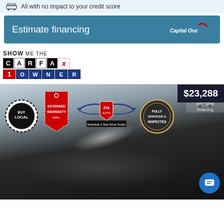All with no impact to your credit score
Estimate financing
[Figure (logo): Capital One logo in white on teal background]
[Figure (logo): SHOW ME THE CARFAX 1 OWNER badge]
$23,288
[Figure (photo): Dealer composite image with Buy Local badge, Extended Warranty badge, Zia Auto logo, Fully Serviced & Inspected badge, Credit Union Financing badge, and a black sedan car photo]